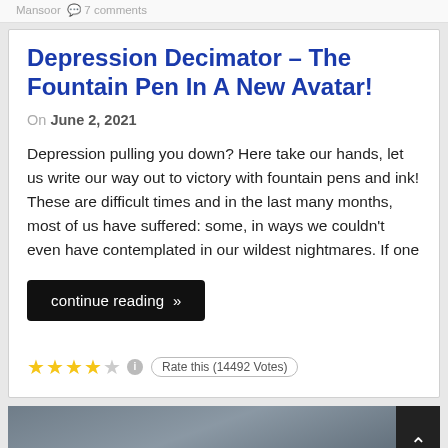Mansoor  7 comments
Depression Decimator – The Fountain Pen In A New Avatar!
On June 2, 2021
Depression pulling you down? Here take our hands, let us write our way out to victory with fountain pens and ink! These are difficult times and in the last many months, most of us have suffered: some, in ways we couldn't even have contemplated in our wildest nightmares. If one
continue reading »
Rate this (14492 Votes)
[Figure (photo): Dark rocky or textured surface, bottom portion of the page, partially visible]